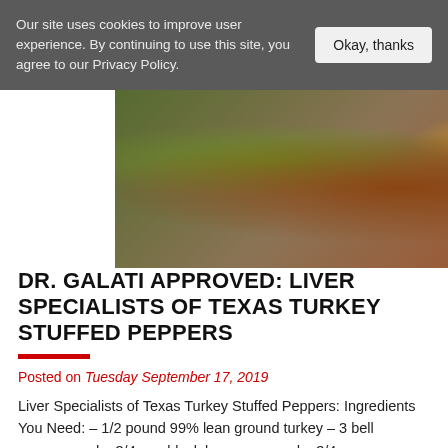Our site uses cookies to improve user experience. By continuing to use this site, you agree to our Privacy Policy.
[Figure (photo): Close-up photo of stuffed bell peppers filled with ground turkey, black beans, corn, and tomato mixture. A green pepper and a red pepper are visible side by side on a white surface.]
DR. GALATI APPROVED: LIVER SPECIALISTS OF TEXAS TURKEY STUFFED PEPPERS
Posted on Tuesday September 17, 2019
Liver Specialists of Texas Turkey Stuffed Peppers: Ingredients You Need: – 1/2 pound 99% lean ground turkey – 3 bell peppers, red – 3/4 cup black beans, canned – 3/4 cup corn, frozen – 1 tomato, large and chopped – 1 clove garlic, minced – 1/2 cup yellow onion, chopped – 1/3 cup chicken broth, [...]